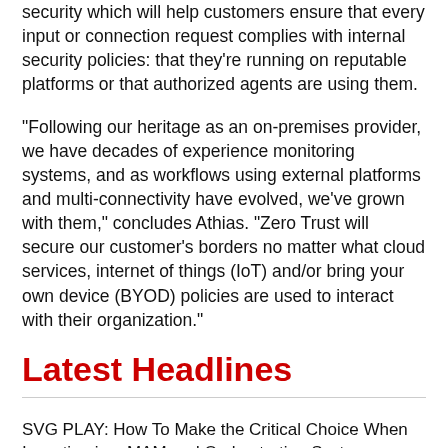security which will help customers ensure that every input or connection request complies with internal security policies: that they're running on reputable platforms or that authorized agents are using them.
“Following our heritage as an on-premises provider, we have decades of experience monitoring systems, and as workflows using external platforms and multi-connectivity have evolved, we’ve grown with them,” concludes Athias. “Zero Trust will secure our customer’s borders no matter what cloud services, internet of things (IoT) and/or bring your own device (BYOD) policies are used to interact with their organization.”
Latest Headlines
SVG PLAY: How To Make the Critical Choice When Investing in a MAM and Orchestration System
College Football 2022 Preview: Fox Sports Boosts Home Run Production, Onsite Studio Footprint for Big Noon